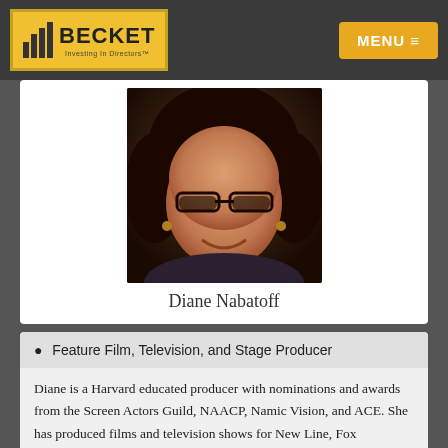BECKET — MENU
[Figure (photo): Portrait photo of Diane Nabatoff, a woman with curly dark hair and glasses, smiling.]
Diane Nabatoff
Feature Film, Television, and Stage Producer
Diane is a Harvard educated producer with nominations and awards from the Screen Actors Guild, NAACP, Namic Vision, and ACE. She has produced films and television shows for New Line, Fox Searchlight, NBC/Universal, Paramount, A&E, Lifetime Network, HBO, TNT, and Amazon. In these productions she hired talented actors such as Antonio Banderas, Ray Liotta, Jason Patric, Heather Graham,